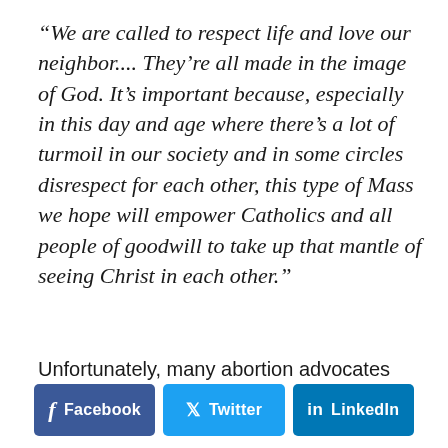“We are called to respect life and love our neighbor.... They’re all made in the image of God. It’s important because, especially in this day and age where there’s a lot of turmoil in our society and in some circles disrespect for each other, this type of Mass we hope will empower Catholics and all people of goodwill to take up that mantle of seeing Christ in each other.”
Unfortunately, many abortion advocates
[Figure (other): Social sharing buttons: Facebook (dark blue), Twitter (light blue), LinkedIn (blue)]